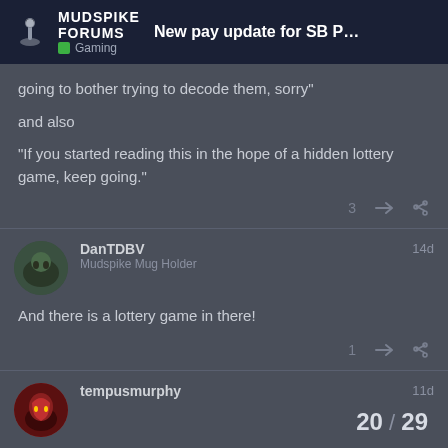MUDSPIKE FORUMS — New pay update for SB Pro PE coming i... — Gaming
going to bother trying to decode them, sorry"
and also
“If you started reading this in the hope of a hidden lottery game, keep going.”
DanTDBV — Mudspike Mug Holder — 14d
And there is a lottery game in there!
tempusmurphy — 11d
20 / 29